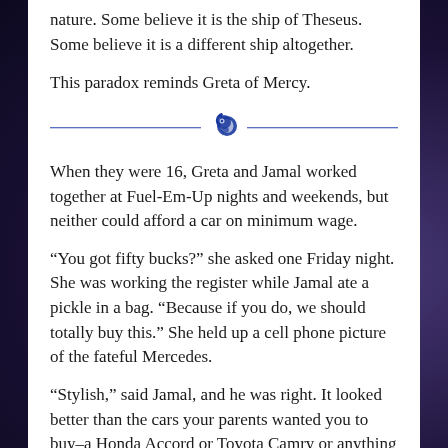nature. Some believe it is the ship of Theseus. Some believe it is a different ship altogether.
This paradox reminds Greta of Mercy.
[Figure (illustration): Decorative section divider: a horizontal blue line with a small blue illustrated icon (a stylized creature/skull) centered on it.]
When they were 16, Greta and Jamal worked together at Fuel-Em-Up nights and weekends, but neither could afford a car on minimum wage.
“You got fifty bucks?” she asked one Friday night. She was working the register while Jamal ate a pickle in a bag. “Because if you do, we should totally buy this.” She held up a cell phone picture of the fateful Mercedes.
“Stylish,” said Jamal, and he was right. It looked better than the cars your parents wanted you to buy–a Honda Accord or Toyota Camry or anything